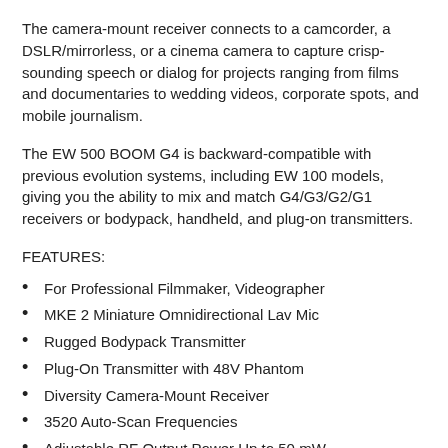The camera-mount receiver connects to a camcorder, a DSLR/mirrorless, or a cinema camera to capture crisp-sounding speech or dialog for projects ranging from films and documentaries to wedding videos, corporate spots, and mobile journalism.
The EW 500 BOOM G4 is backward-compatible with previous evolution systems, including EW 100 models, giving you the ability to mix and match G4/G3/G2/G1 receivers or bodypack, handheld, and plug-on transmitters.
FEATURES:
For Professional Filmmaker, Videographer
MKE 2 Miniature Omnidirectional Lav Mic
Rugged Bodypack Transmitter
Plug-On Transmitter with 48V Phantom
Diversity Camera-Mount Receiver
3520 Auto-Scan Frequencies
Adjustable RF Output Power Up to 50 mW
Balanced Output & Headphone Output